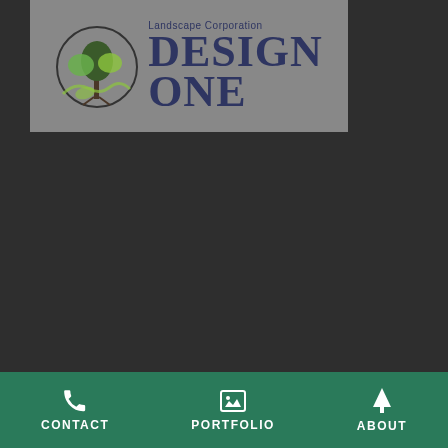[Figure (logo): Design One Landscape Corporation logo with tree illustration inside a circle on grey background]
CONTACT  PORTFOLIO  ABOUT